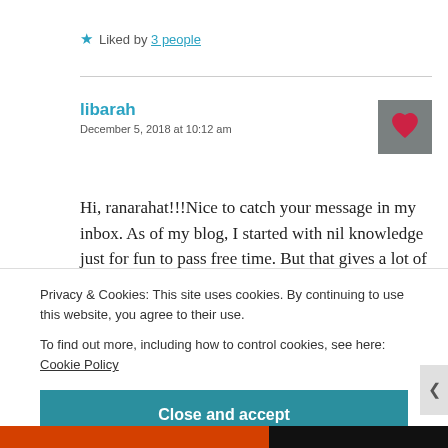★ Liked by 3 people
libarah
December 5, 2018 at 10:12 am
[Figure (photo): User avatar thumbnail showing a heart image]
Hi, ranarahat!!!Nice to catch your message in my inbox. As of my blog, I started with nil knowledge just for fun to pass free time. But that gives a lot of fun and happiness when we encounter success.
Privacy & Cookies: This site uses cookies. By continuing to use this website, you agree to their use.
To find out more, including how to control cookies, see here: Cookie Policy
Close and accept